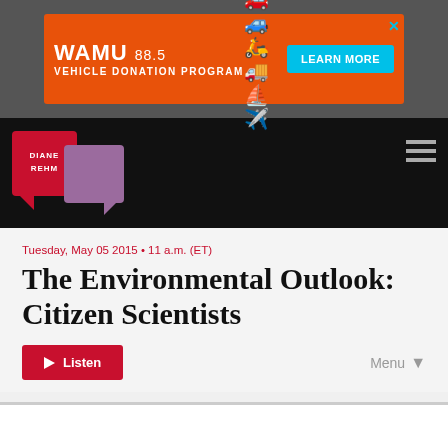[Figure (other): WAMU 88.5 Vehicle Donation Program advertisement banner with orange background, vehicle icons, and Learn More button]
[Figure (logo): Diane Rehm show logo with red and purple speech bubble icons on black navigation bar with hamburger menu]
Tuesday, May 05 2015 • 11 a.m. (ET)
The Environmental Outlook: Citizen Scientists
Listen
Menu
GUEST HOST: INDIRA LAKSHMANAN